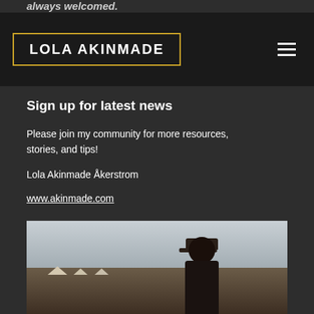always welcomed.
LOLA AKINMADE
Sign up for latest news
Please join my community for more resources, stories, and tips!
Lola Akinmade Åkerstrom
www.akinmade.com
[Figure (photo): Woman wearing a dark cap and black top standing in a desert landscape with traditional huts visible in the background]